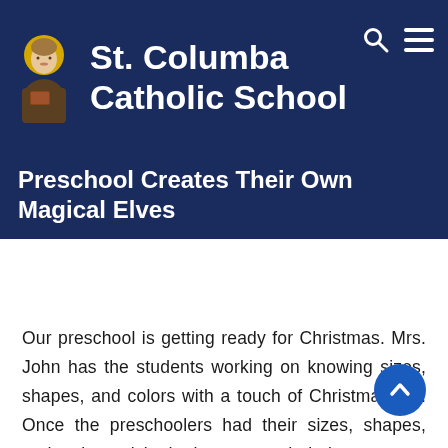St. Columba Catholic School
Preschool Creates Their Own Magical Elves
Our preschool is getting ready for Christmas. Mrs. John has the students working on knowing sizes, shapes, and colors with a touch of Christmas fun. Once the preschoolers had their sizes, shapes, and colors picked, they created their very own and unique Magical Elf. The students were so proud of their elves that they couldn't wait to show